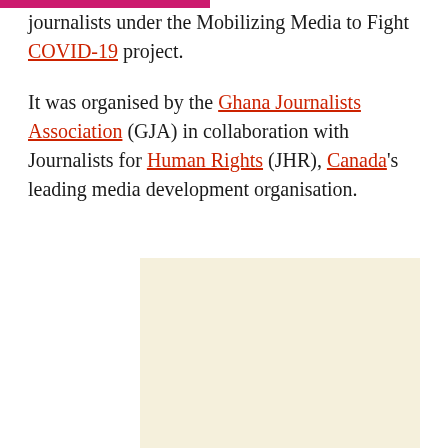journalists under the Mobilizing Media to Fight COVID-19 project.
It was organised by the Ghana Journalists Association (GJA) in collaboration with Journalists for Human Rights (JHR), Canada's leading media development organisation.
[Figure (photo): A beige/cream colored rectangular image placeholder area.]